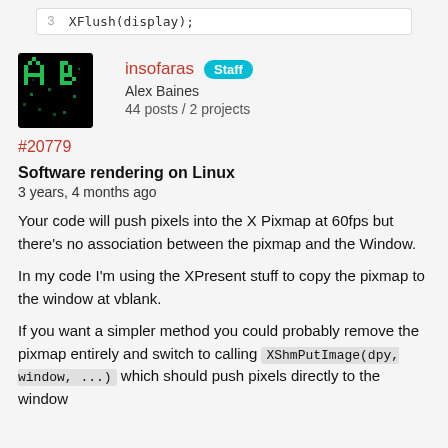[Figure (screenshot): Code snippet bar showing line 3 with XFlush(display);]
[Figure (photo): User avatar for insofaras — pixel art letters AB on dark green background]
insofaras  Staff
Alex Baines
44 posts / 2 projects
#20779
Software rendering on Linux
3 years, 4 months ago
Your code will push pixels into the X Pixmap at 60fps but there's no association between the pixmap and the Window.
In my code I'm using the XPresent stuff to copy the pixmap to the window at vblank.
If you want a simpler method you could probably remove the pixmap entirely and switch to calling XShmPutImage(dpy, window, ...) which should push pixels directly to the window